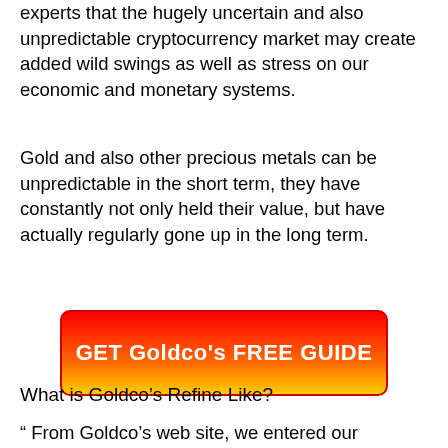experts that the hugely uncertain and also unpredictable cryptocurrency market may create added wild swings as well as stress on our economic and monetary systems.
Gold and also other precious metals can be unpredictable in the short term, they have constantly not only held their value, but have actually regularly gone up in the long term.
[Figure (other): Red to yellow gradient call-to-action button with text 'GET Goldco's FREE GUIDE']
What is Goldco’s Refine Like?
“ From Goldco’s web site, we entered our